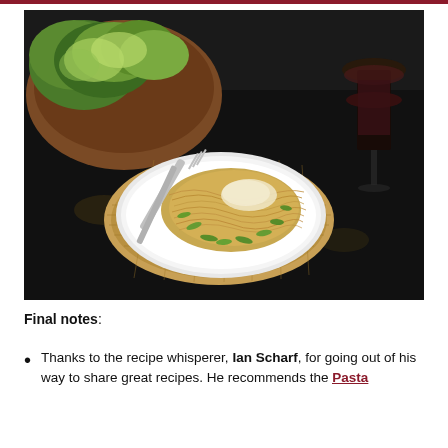[Figure (photo): A plate of spaghetti with grated cheese and chopped green onions, with a fork on the plate, placed on a woven basket mat on a dark tray. A wooden bowl of green salad is in the background upper left, and a glass of red wine is in the background upper right.]
Final notes:
Thanks to the recipe whisperer, Ian Scharf, for going out of his way to share great recipes. He recommends the Pasta